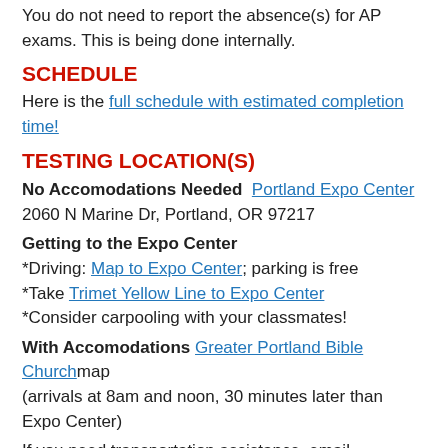You do not need to report the absence(s) for AP exams. This is being done internally.
SCHEDULE
Here is the full schedule with estimated completion time!
TESTING LOCATION(S)
No Accomodations Needed  Portland Expo Center
2060 N Marine Dr, Portland, OR 97217
Getting to the Expo Center
*Driving: Map to Expo Center; parking is free
*Take Trimet Yellow Line to Expo Center
*Consider carpooling with your classmates!
With Accomodations Greater Portland Bible Church map
(arrivals at 8am and noon, 30 minutes later than Expo Center)
If you need transportation assistance, email advancedplacement@pps.net.
WHAT TO BRING: